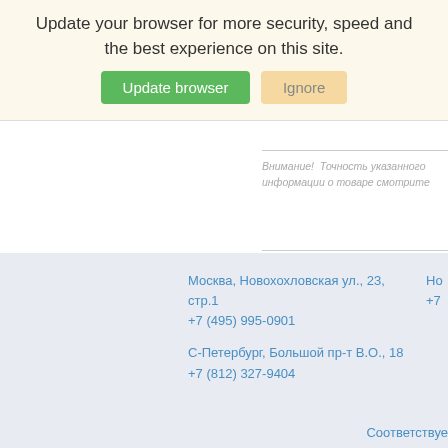Update your browser for more security, speed and the best experience on this site.
Update browser  Ignore
Внимание! Точность указанного информации о товаре смотрите
ADC1215021CIMF/NOPB (TI)
Москва, Новохохловская ул., 23, стр.1
+7 (495) 995-0901
С-Петербург, Большой пр-т В.О., 18
+7 (812) 327-9404
Но
+7
Соответствуе